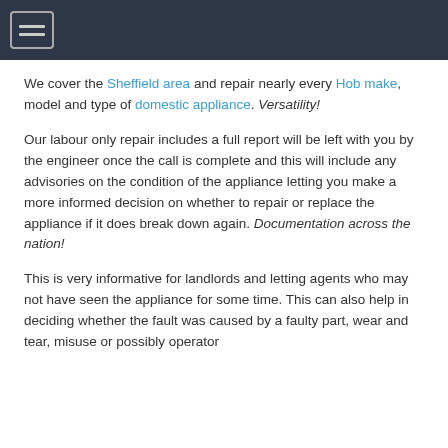[hamburger menu icon]
We cover the Sheffield area and repair nearly every Hob make, model and type of domestic appliance. Versatility!
Our labour only repair includes a full report will be left with you by the engineer once the call is complete and this will include any advisories on the condition of the appliance letting you make a more informed decision on whether to repair or replace the appliance if it does break down again. Documentation across the nation!
This is very informative for landlords and letting agents who may not have seen the appliance for some time. This can also help in deciding whether the fault was caused by a faulty part, wear and tear, misuse or possibly operator